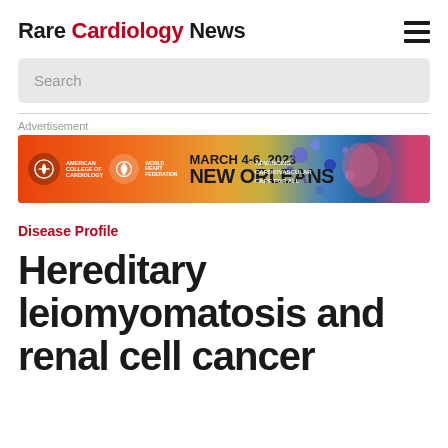Rare Cardiology News
[Figure (other): Search input box with placeholder text 'Search']
Advertisement
[Figure (infographic): Advertisement banner for American College of Cardiology / World Heart Federation event: March 4-6, 2023 New Orleans — Advancing Cardiovascular Care For All]
Disease Profile
Hereditary leiomyomatosis and renal cell cancer